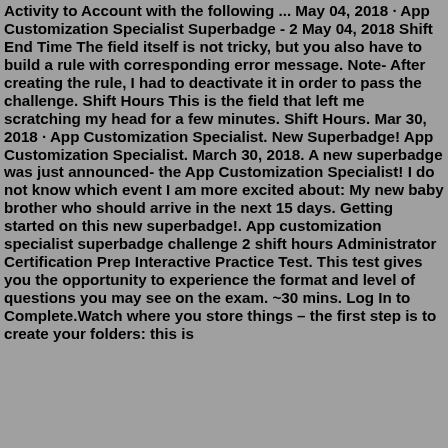Activity to Account with the following ... May 04, 2018 · App Customization Specialist Superbadge - 2 May 04, 2018 Shift End Time The field itself is not tricky, but you also have to build a rule with corresponding error message. Note- After creating the rule, I had to deactivate it in order to pass the challenge. Shift Hours This is the field that left me scratching my head for a few minutes. Shift Hours. Mar 30, 2018 · App Customization Specialist. New Superbadge! App Customization Specialist. March 30, 2018. A new superbadge was just announced- the App Customization Specialist! I do not know which event I am more excited about: My new baby brother who should arrive in the next 15 days. Getting started on this new superbadge!. App customization specialist superbadge challenge 2 shift hours Administrator Certification Prep Interactive Practice Test. This test gives you the opportunity to experience the format and level of questions you may see on the exam. ~30 mins. Log In to Complete.Watch where you store things – the first step is to create your folders: this is